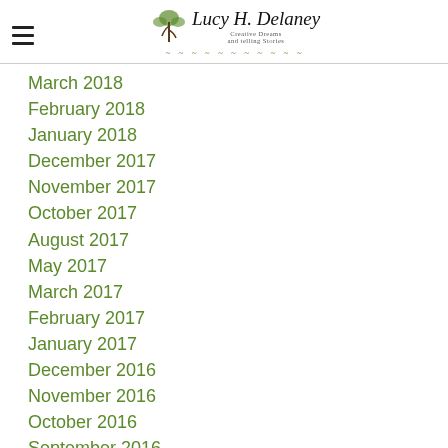Lucy H. Delaney — logo and navigation header
March 2018
February 2018
January 2018
December 2017
November 2017
October 2017
August 2017
May 2017
March 2017
February 2017
January 2017
December 2016
November 2016
October 2016
September 2016
August 2016
July 2016